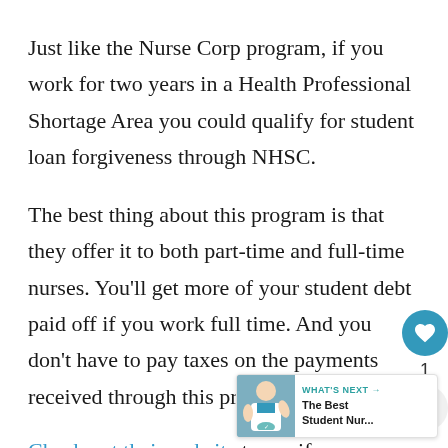Just like the Nurse Corp program, if you work for two years in a Health Professional Shortage Area you could qualify for student loan forgiveness through NHSC.
The best thing about this program is that they offer it to both part-time and full-time nurses. You'll get more of your student debt paid off if you work full time. And you don't have to pay taxes on the payments received through this program.
Check out their website to see if you qu...
[Figure (other): UI overlay with heart/like button showing count of 1 and a share button]
[Figure (other): What's Next promotional widget with image of nurse and text: The Best Student Nur...]